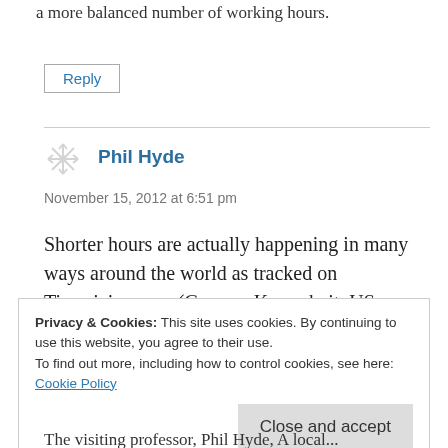a more balanced number of working hours.
Reply
Phil Hyde
November 15, 2012 at 6:51 pm
Shorter hours are actually happening in many ways around the world as tracked on Timesizing.com (German Kurzarbeit, US
Privacy & Cookies: This site uses cookies. By continuing to use this website, you agree to their use.
To find out more, including how to control cookies, see here:
Cookie Policy
Close and accept
The visiting professor, Phil Hyde, A local...